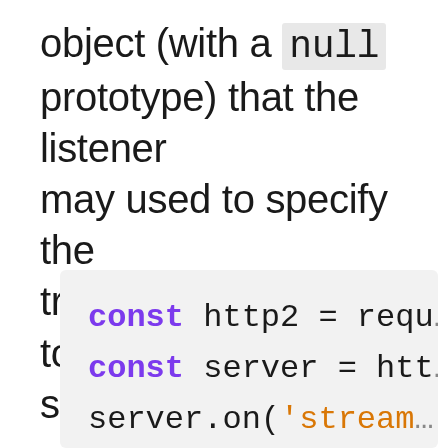object (with a null prototype) that the listener may used to specify the trailing header fields to send to the peer.
[Figure (screenshot): Code block showing Node.js http2 server setup: 'const http2 = requ...' and 'const server = htt...' and 'server.on('stream...' lines in syntax-highlighted monospace font on a light gray background]